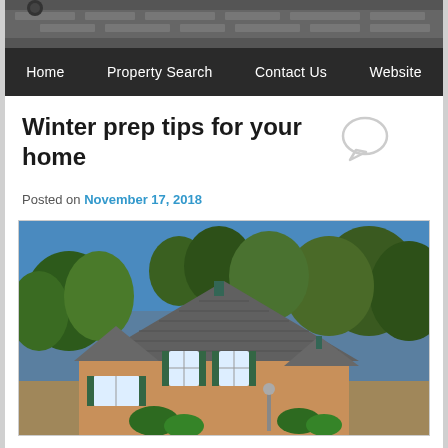[Figure (photo): Header banner photo showing a building facade in black and white]
Home  Property Search  Contact Us  Website
Winter prep tips for your home
Posted on November 17, 2018
[Figure (photo): Aerial/elevated photo of a brick two-story home with gray shingle roof, green shutters, surrounded by autumn trees]